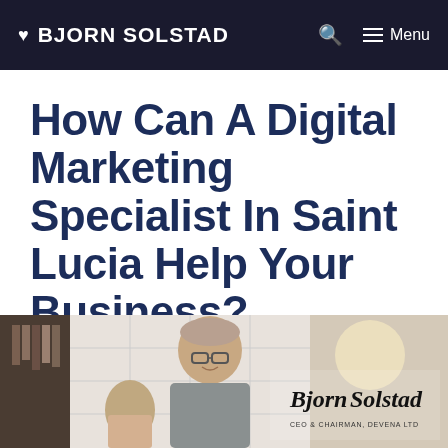♥ BJORN SOLSTAD  🔍  ≡ Menu
How Can A Digital Marketing Specialist In Saint Lucia Help Your Business?
[Figure (photo): A man with glasses sitting at a table, appearing to be in a meeting or collaborative session. Overlaid with a cursive signature reading 'Bjorn Solstad' and subtitle text 'CEO & CHAIRMAN, DEVENA LTD'.]